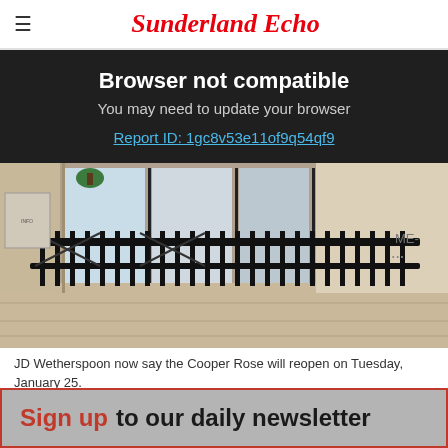Sunderland Echo
Browser not compatible
You may need to update your browser
Report ID: 1gc8v53e11of9q54qf9
[Figure (photo): Street-level photo of closed shopfront with black iron railings/security gates. The Cooper Rose pub entrance is shuttered with white panels behind the railings. Stone building facade visible.]
JD Wetherspoon now say the Cooper Rose will reopen on Tuesday, January 25.
Sign up to our daily newsletter